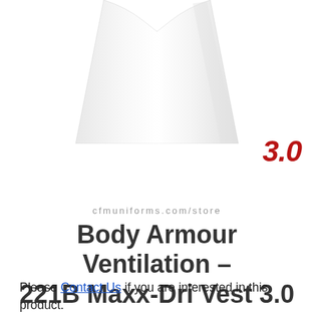[Figure (photo): Partial view of a white body armour ventilation vest (221B Maxx-Dri Vest 3.0), showing the lower portion of the white vest against white background. A red italic '3.0' version badge appears in the lower right of the image area.]
cfmuniforms.com/store
Body Armour Ventilation – 221B Maxx-Dri Vest 3.0
Please Contact Us if you are interested in this product.
(514)-389-0007